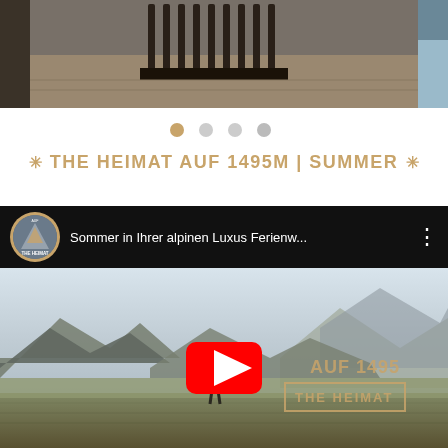[Figure (photo): Top image strip showing interior and exterior photos. Center shows what appears to be a wooden grid/slats (sauna or grill), left edge shows dark interior, right edge shows blue textile.]
[Figure (other): Navigation dots: one gold/active dot followed by three gray dots indicating a carousel/slideshow.]
THE HEIMAT AUF 1495M | SUMMER
[Figure (screenshot): YouTube video embed showing 'Sommer in Ihrer alpinen Luxus Ferienw...' with The Heimat channel logo (circular mountain logo in gold). Thumbnail shows a person standing in alpine meadow with mountain panorama in foggy/misty light. A YouTube play button overlay is visible. Video watermark shows 'AUF 1495' and 'THE HEIMAT' branding.]